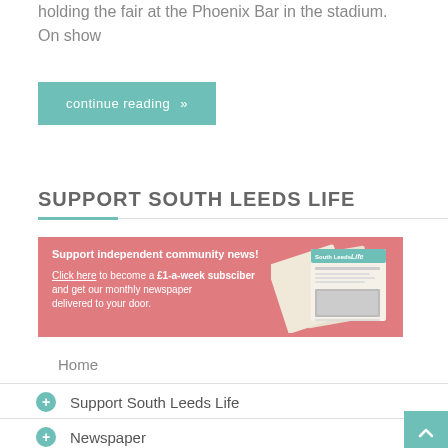holding the fair at the Phoenix Bar in the stadium. On show
continue reading »
SUPPORT SOUTH LEEDS LIFE
[Figure (infographic): Pink banner advertisement: 'Support independent community news! Click here to become a £1-a-week subsciber and get our monthly newspaper delivered to your door.' with newspaper images on the right.]
Home
Support South Leeds Life
Newspaper